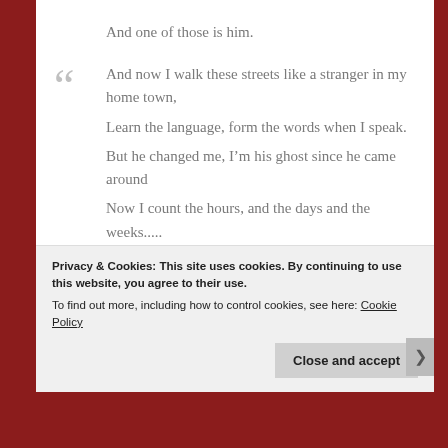And one of those is him.
And now I walk these streets like a stranger in my home town,
Learn the language, form the words when I speak.
But he changed me, I'm his ghost since he came around
Now I count the hours, and the days and the weeks.....
In passion and silence,
Privacy & Cookies: This site uses cookies. By continuing to use this website, you agree to their use.
To find out more, including how to control cookies, see here: Cookie Policy
Close and accept